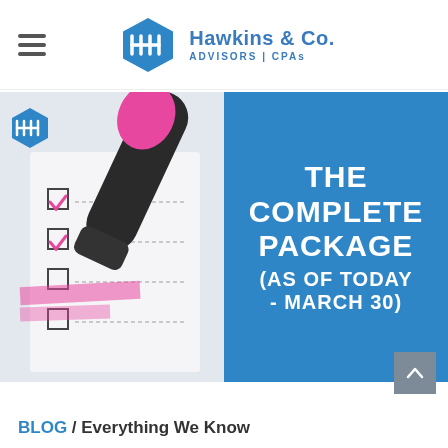[Figure (logo): Hawkins & Co. Advisors CPAs logo with hexagon icon and hamburger menu]
[Figure (illustration): Split image: left side shows photo of pink highlighter marking checkboxes on a checklist. Right side is blue rectangle with bold white uppercase text reading THE COMPLETE PACKAGE (AS OF TODAY - MARCH 30). Small Hawkins & Co. hexagon logo overlaid on top-left of photo.]
BLOG / Everything We Know